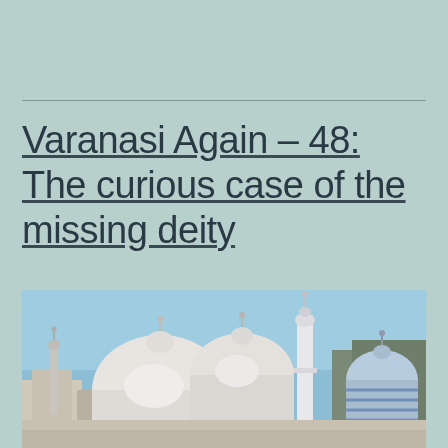Varanasi Again – 48: The curious case of the missing deity
[Figure (photo): Photograph of mosque domes and minarets — likely the Gyanvapi Mosque in Varanasi, India. White domed structures and a minaret visible against a blue sky, with buildings in the background.]